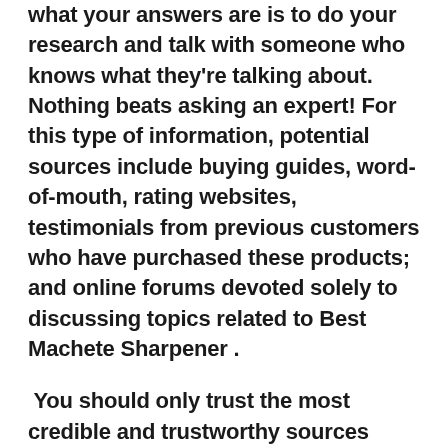what your answers are is to do your research and talk with someone who knows what they're talking about. Nothing beats asking an expert! For this type of information, potential sources include buying guides, word-of-mouth, rating websites, testimonials from previous customers who have purchased these products; and online forums devoted solely to discussing topics related to Best Machete Sharpener .
You should only trust the most credible and trustworthy sources when making a decision. Our library provides objective, accurate information about the top Machete Sharpener . Using trending technologies, we create our guides so you